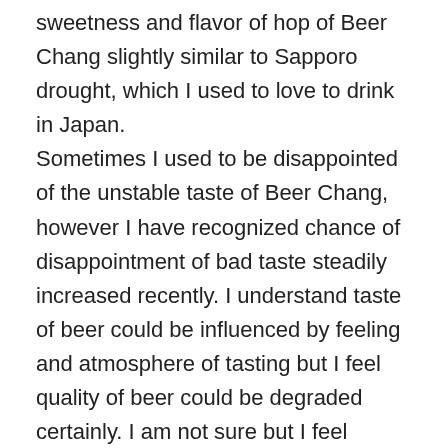sweetness and flavor of hop of Beer Chang slightly similar to Sapporo drought, which I used to love to drink in Japan. Sometimes I used to be disappointed of the unstable taste of Beer Chang, however I have recognized chance of disappointment of bad taste steadily increased recently. I understand taste of beer could be influenced by feeling and atmosphere of tasting but I feel quality of beer could be degraded certainly. I am not sure but I feel something like distilled alcohol could be added to Beer. Beer Leo, which is also produced by affiliate company of Beer Shingha, to be felt tasteless by me and Beer Shingha seems to be felt of a little bit be burnt, but I need to buy Beer Shingha for a while by expecting quality of Beer Chang will be recovered. ( I understand